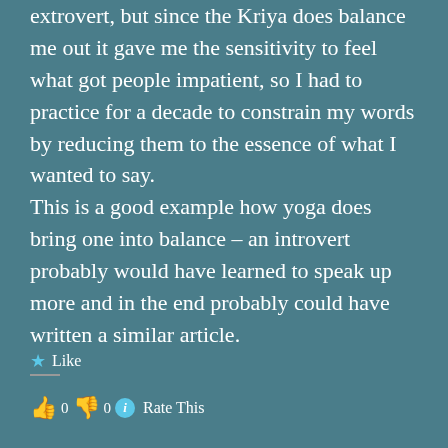...being the entirely extrovert, but since the Kriya does balance me out it gave me the sensitivity to feel what got people impatient, so I had to practice for a decade to constrain my words by reducing them to the essence of what I wanted to say. This is a good example how yoga does bring one into balance – an introvert probably would have learned to speak up more and in the end probably could have written a similar article.
★ Like
👍 0 👎 0 ℹ Rate This